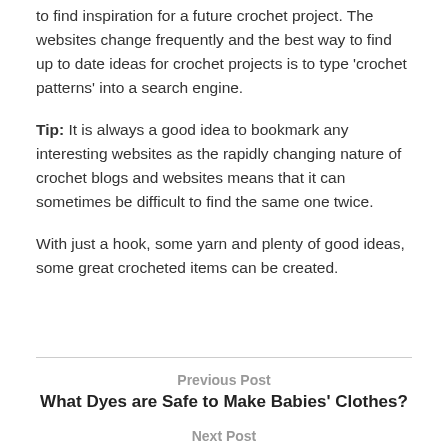to find inspiration for a future crochet project. The websites change frequently and the best way to find up to date ideas for crochet projects is to type 'crochet patterns' into a search engine.
Tip: It is always a good idea to bookmark any interesting websites as the rapidly changing nature of crochet blogs and websites means that it can sometimes be difficult to find the same one twice.
With just a hook, some yarn and plenty of good ideas, some great crocheted items can be created.
Previous Post
What Dyes are Safe to Make Babies' Clothes?
Next Post